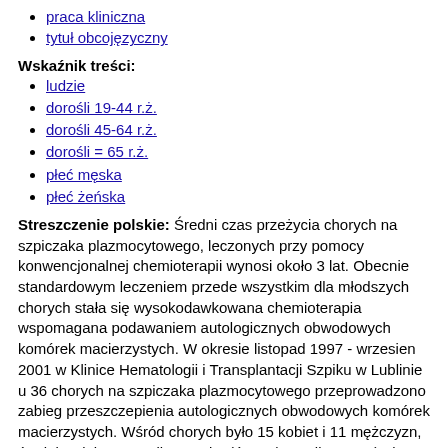praca kliniczna
tytuł obcojęzyczny
Wskaźnik treści:
ludzie
dorośli 19-44 r.ż.
dorośli 45-64 r.ż.
dorośli = 65 r.ż.
płeć męska
płeć żeńska
Streszczenie polskie: Średni czas przeżycia chorych na szpiczaka plazmocytowego, leczonych przy pomocy konwencjonalnej chemioterapii wynosi około 3 lat. Obecnie standardowym leczeniem przede wszystkim dla młodszych chorych stała się wysokodawkowana chemioterapia wspomagana podawaniem autologicznych obwodowych komórek macierzystych. W okresie listopad 1997 - wrzesien 2001 w Klinice Hematologii i Transplantacji Szpiku w Lublinie u 36 chorych na szpiczaka plazmocytowego przeprowadzono zabieg przeszczepienia autologicznych obwodowych komórek macierzystych. Wśród chorych było 15 kobiet i 11 mężczyzn, średnia wieku wynosiła 51.9 lat (ń 8,45), mediana 51 (zakres: 38-65). U 7 chorych wykonano procedurę transplantacji dwukrotnie. Przed transplantacja 17 chorych było w całkowitej remisji, 14 w